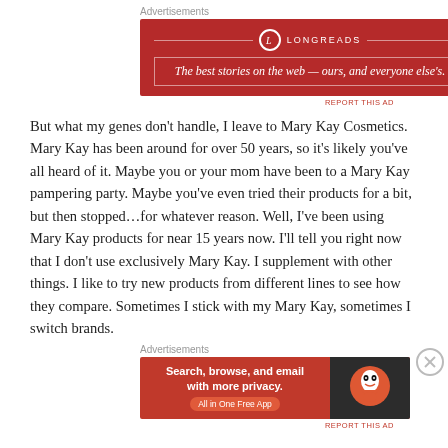[Figure (screenshot): Longreads advertisement banner with red background. Text reads: 'LONGREADS' and 'The best stories on the web — ours, and everyone else's.']
But what my genes don't handle, I leave to Mary Kay Cosmetics. Mary Kay has been around for over 50 years, so it's likely you've all heard of it. Maybe you or your mom have been to a Mary Kay pampering party. Maybe you've even tried their products for a bit, but then stopped...for whatever reason. Well, I've been using Mary Kay products for near 15 years now. I'll tell you right now that I don't use exclusively Mary Kay. I supplement with other things. I like to try new products from different lines to see how they compare. Sometimes I stick with my Mary Kay, sometimes I switch brands.
[Figure (screenshot): DuckDuckGo advertisement banner. Left: red background with text 'Search, browse, and email with more privacy. All in One Free App'. Right: dark background with DuckDuckGo logo.]